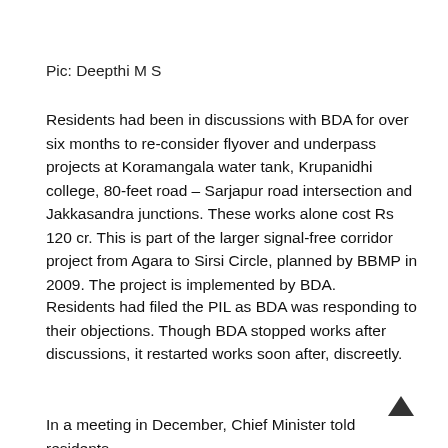Pic: Deepthi M S
Residents had been in discussions with BDA for over six months to re-consider flyover and underpass projects at Koramangala water tank, Krupanidhi college, 80-feet road – Sarjapur road intersection and Jakkasandra junctions. These works alone cost Rs 120 cr. This is part of the larger signal-free corridor project from Agara to Sirsi Circle, planned by BBMP in 2009. The project is implemented by BDA.
Residents had filed the PIL as BDA was responding to their objections. Though BDA stopped works after discussions, it restarted works soon after, discreetly.
In a meeting in December, Chief Minister told residents